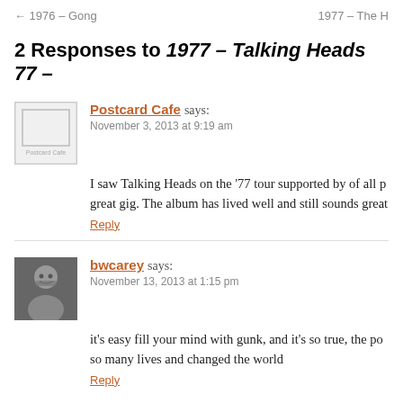← 1976 – Gong    1977 – The H
2 Responses to 1977 – Talking Heads 77 –
Postcard Cafe says:
November 3, 2013 at 9:19 am
I saw Talking Heads on the '77 tour supported by of all p great gig. The album has lived well and still sounds great
Reply
bwcarey says:
November 13, 2013 at 1:15 pm
it's easy fill your mind with gunk, and it's so true, the po so many lives and changed the world
Reply